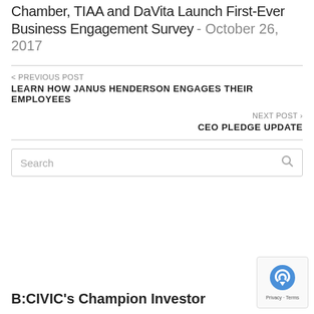Chamber, TIAA and DaVita Launch First-Ever Business Engagement Survey - October 26, 2017
< PREVIOUS POST
LEARN HOW JANUS HENDERSON ENGAGES THEIR EMPLOYEES
NEXT POST >
CEO PLEDGE UPDATE
Search
B:CIVIC's Champion Investor